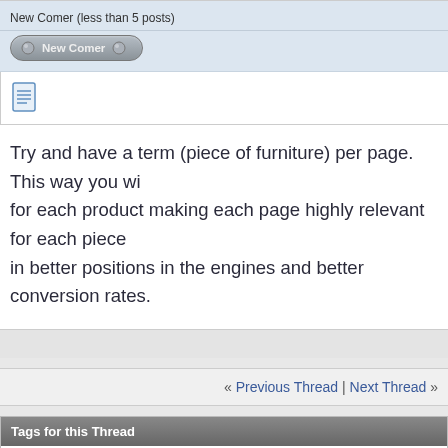New Comer (less than 5 posts)
[Figure (other): New Comer badge/button with circular emblem]
[Figure (other): Document/post icon]
Try and have a term (piece of furniture) per page. This way you wi for each product making each page highly relevant for each piece in better positions in the engines and better conversion rates.
« Previous Thread | Next Thread »
Tags for this Thread
keywords, seo
View Tag Cloud
Bookmarks
Posting Permis…